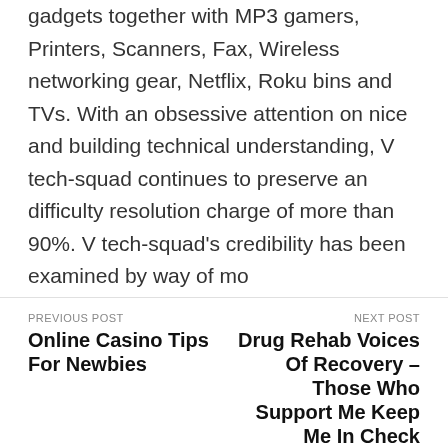gadgets together with MP3 gamers, Printers, Scanners, Fax, Wireless networking gear, Netflix, Roku bins and TVs. With an obsessive attention on nice and building technical understanding, V tech-squad continues to preserve an difficulty resolution charge of more than 90%. V tech-squad's credibility has been examined by way of mo
PREVIOUS POST
Online Casino Tips For Newbies

NEXT POST
Drug Rehab Voices Of Recovery – Those Who Support Me Keep Me In Check